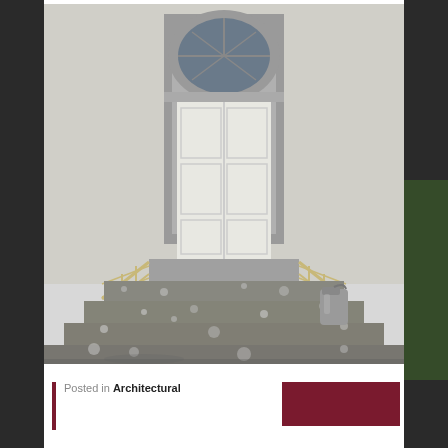[Figure (photo): Photograph of a historic building entrance with a white double door under a semicircular arched window with stone surround, rusty metal railings on either side, and weathered stone steps with lichen growth. A plastic jerry can lies on the steps.]
Posted in Architectural